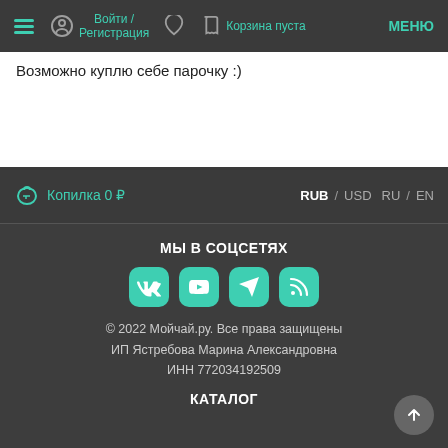Войти / Регистрация | Корзина пуста | МЕНЮ
Возможно куплю себе парочку :)
Копилка 0 ₽ | RUB / USD | RU / EN
МЫ В СОЦСЕТЯХ
[Figure (infographic): Social media icons: VK, YouTube, Telegram, RSS]
© 2022 Мойчай.ру. Все права защищены
ИП Ястребова Марина Александровна
ИНН 772034192509
КАТАЛОГ